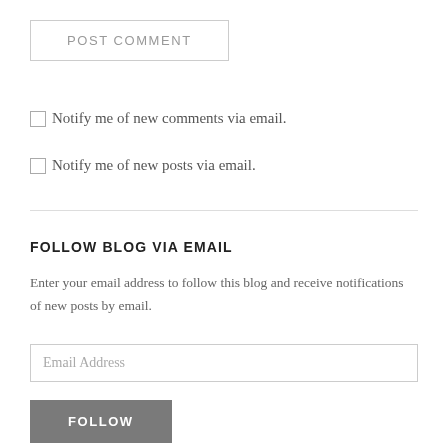POST COMMENT
Notify me of new comments via email.
Notify me of new posts via email.
FOLLOW BLOG VIA EMAIL
Enter your email address to follow this blog and receive notifications of new posts by email.
Email Address
FOLLOW